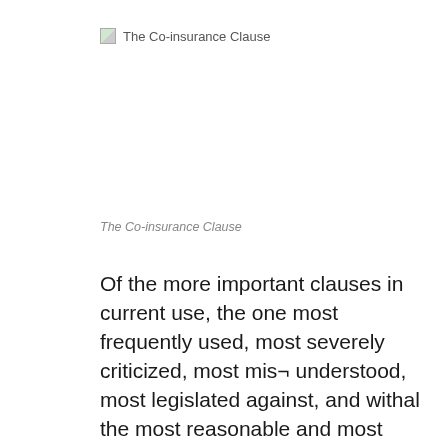The Co-insurance Clause
The Co-insurance Clause
Of the more important clauses in current use, the one most frequently used, most severely criticized, most mis¬ understood, most legislated against, and withal the most reasonable and most equitable, is that which in general terms is known as the “co-insurance clause.” Insurance is one of the great necessities of our business, social and economic life, and the expense of maintaining it should be distributed among the property owners of the country as equitably as it is